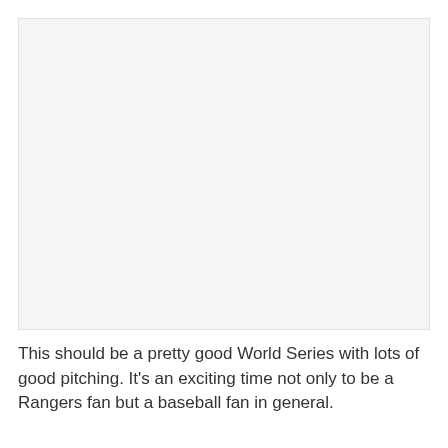[Figure (photo): A large mostly blank/white image placeholder area]
This should be a pretty good World Series with lots of good pitching. It's an exciting time not only to be a Rangers fan but a baseball fan in general.